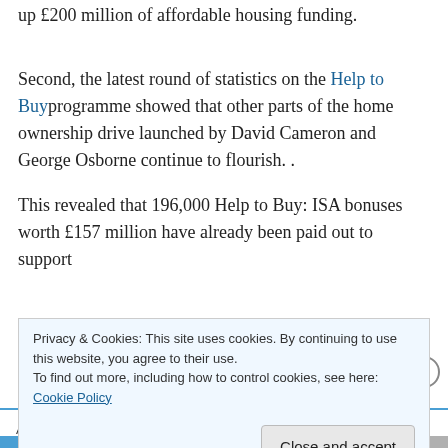up £200 million of affordable housing funding.
Second, the latest round of statistics on the Help to Buy programme showed that other parts of the home ownership drive launched by David Cameron and George Osborne continue to flourish. .
This revealed that 196,000 Help to Buy: ISA bonuses worth £157 million have already been paid out to support
Privacy & Cookies: This site uses cookies. By continuing to use this website, you agree to their use.
To find out more, including how to control cookies, see here: Cookie Policy
Close and accept
Advertisements